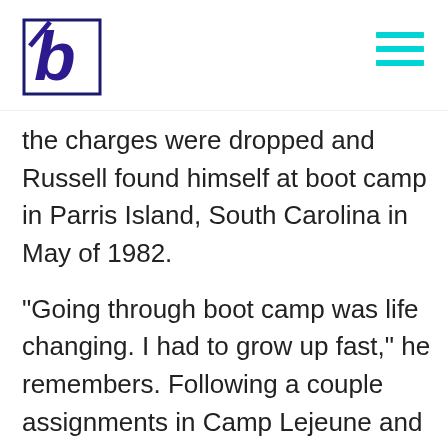[Figure (logo): Publication logo: stylized 'b' letter in dark navy/purple with a forward slash, set against a white square background]
the charges were dropped and Russell found himself at boot camp in Parris Island, South Carolina in May of 1982.
“Going through boot camp was life changing. I had to grow up fast,” he remembers. Following a couple assignments in Camp Lejeune and Puerto Rico, Russell landed at Camp Pendleton in California. It was 1984 and, despite a moderately successful start to his military career, Russell was still a hard drinking, destructive, insecure and unstable young...